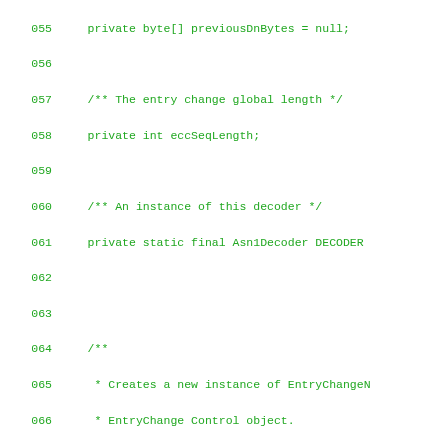Source code listing lines 055-083, Java class with EntryChangeDecorator methods